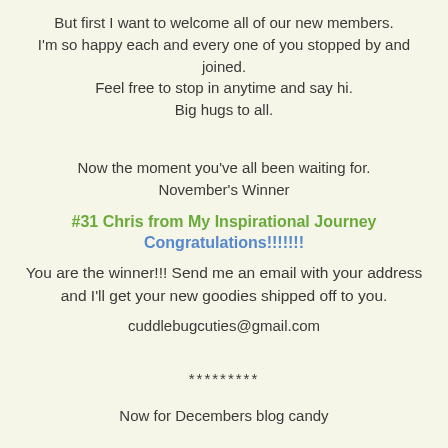But first I want to welcome all of our new members. I'm so happy each and every one of you stopped by and joined. Feel free to stop in anytime and say hi. Big hugs to all.
Now the moment you've all been waiting for. November's Winner
#31 Chris from My Inspirational Journey Congratulations!!!!!!!
You are the winner!!! Send me an email with your address and I'll get your new goodies shipped off to you.
cuddlebugcuties@gmail.com
*********
Now for Decembers blog candy